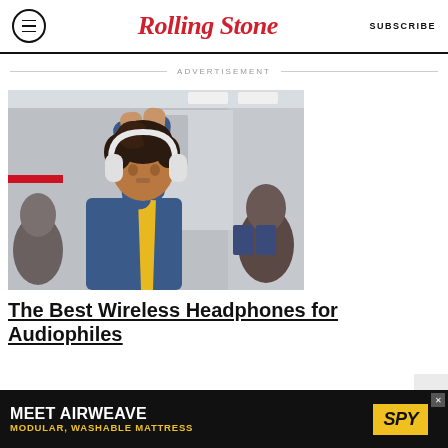Rolling Stone | SUBSCRIBE
ADVERTISEMENT
[Figure (photo): Young woman with curly hair wearing white over-ear headphones and a yellow top under a denim jacket, arms raised, sitting in a subway/train car]
The Best Wireless Headphones for Audiophiles
[Figure (infographic): Bottom banner advertisement: MEET AIRWEAVE MODULAR, WASHABLE MATTRESS with SPY logo on yellow background]